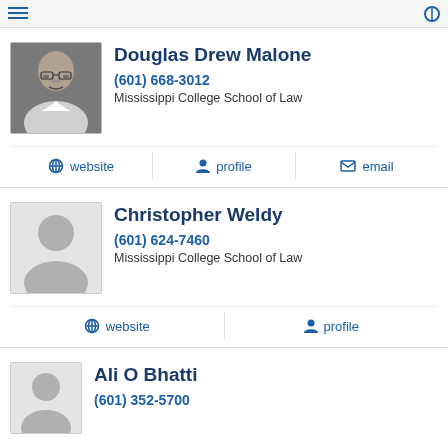[Figure (other): Navigation bar with icons at top of page]
Douglas Drew Malone
(601) 668-3012
Mississippi College School of Law
website | profile | email
Christopher Weldy
(601) 624-7460
Mississippi College School of Law
website | profile
Ali O Bhatti
(601) 352-5700